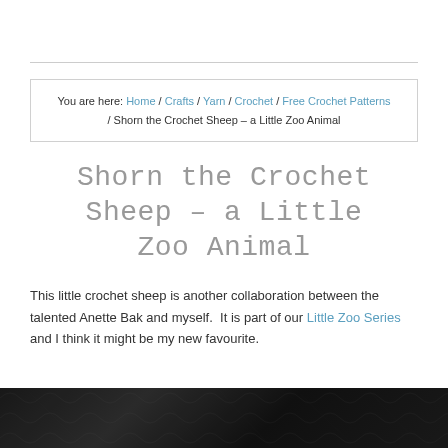You are here: Home / Crafts / Yarn / Crochet / Free Crochet Patterns / Shorn the Crochet Sheep – a Little Zoo Animal
Shorn the Crochet Sheep – a Little Zoo Animal
This little crochet sheep is another collaboration between the talented Anette Bak and myself. It is part of our Little Zoo Series and I think it might be my new favourite.
[Figure (photo): Dark photograph of a crochet sheep, partially visible at the bottom of the page, showing dark background with textured fibers]